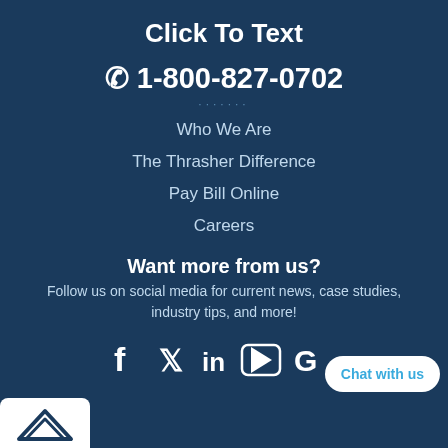Click To Text
☎ 1-800-827-0702
Who We Are
The Thrasher Difference
Pay Bill Online
Careers
Want more from us?
Follow us on social media for current news, case studies, industry tips, and more!
[Figure (other): Social media icons: Facebook, Twitter, LinkedIn, YouTube, Google]
[Figure (other): Chat with us button]
[Figure (logo): Company logo with arrow mark in white box at bottom left]